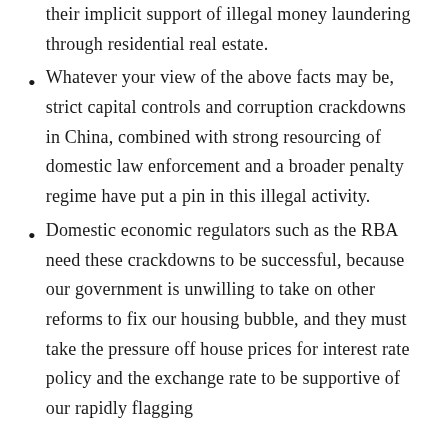their implicit support of illegal money laundering through residential real estate.
Whatever your view of the above facts may be, strict capital controls and corruption crackdowns in China, combined with strong resourcing of domestic law enforcement and a broader penalty regime have put a pin in this illegal activity.
Domestic economic regulators such as the RBA need these crackdowns to be successful, because our government is unwilling to take on other reforms to fix our housing bubble, and they must take the pressure off house prices for interest rate policy and the exchange rate to be supportive of our rapidly flagging